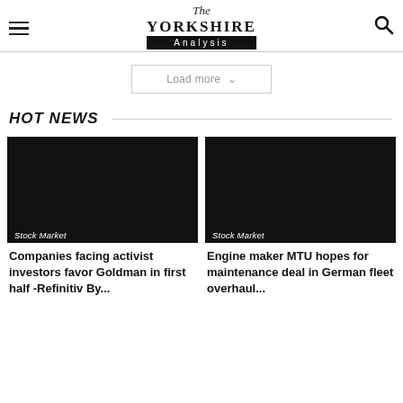The Yorkshire Analysis
Load more
HOT NEWS
Stock Market
Companies facing activist investors favor Goldman in first half -Refinitiv By...
Stock Market
Engine maker MTU hopes for maintenance deal in German fleet overhaul...